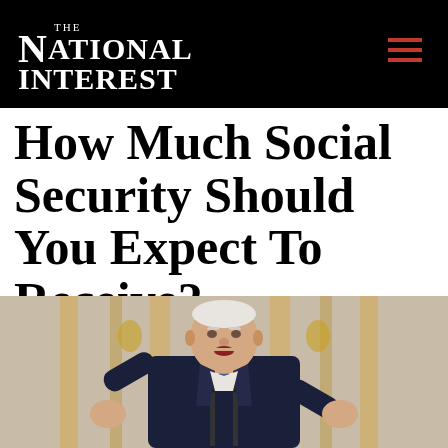THE NATIONAL INTEREST
How Much Social Security Should You Expect To Receive?
[Figure (photo): Photo of President Joe Biden speaking at a podium with microphones, hands raised, wearing a dark suit and tie, with golden curtains/drapes in the background.]